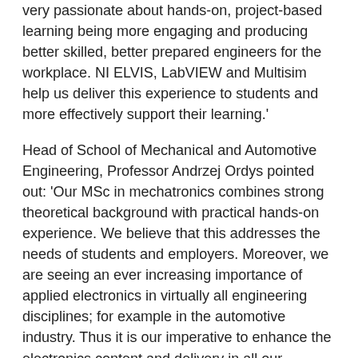very passionate about hands-on, project-based learning being more engaging and producing better skilled, better prepared engineers for the workplace. NI ELVIS, LabVIEW and Multisim help us deliver this experience to students and more effectively support their learning.'
Head of School of Mechanical and Automotive Engineering, Professor Andrzej Ordys pointed out: 'Our MSc in mechatronics combines strong theoretical background with practical hands-on experience. We believe that this addresses the needs of students and employers. Moreover, we are seeing an ever increasing importance of applied electronics in virtually all engineering disciplines; for example in the automotive industry. Thus it is our imperative to enhance the electronics content and delivery in all our courses, at both undergraduate and postgraduate levels. Furthermore, the NI equipment has already proven very useful in our research projects.'
NI ELVIS, based on National Instruments LabVIEW, features an integrated suite of 12 instruments in one compact form factor and is ideal for hands-on